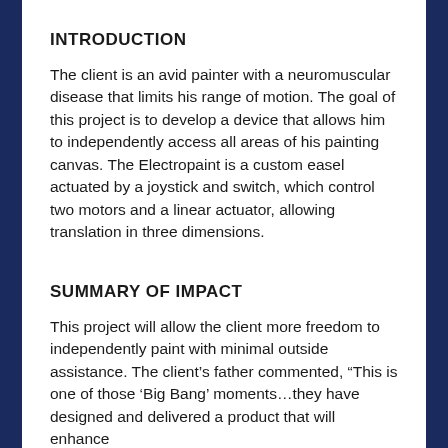INTRODUCTION
The client is an avid painter with a neuromuscular disease that limits his range of motion. The goal of this project is to develop a device that allows him to independently access all areas of his painting canvas. The Electropaint is a custom easel actuated by a joystick and switch, which control two motors and a linear actuator, allowing translation in three dimensions.
SUMMARY OF IMPACT
This project will allow the client more freedom to independently paint with minimal outside assistance. The client’s father commented, “This is one of those ‘Big Bang’ moments…they have designed and delivered a product that will enhance